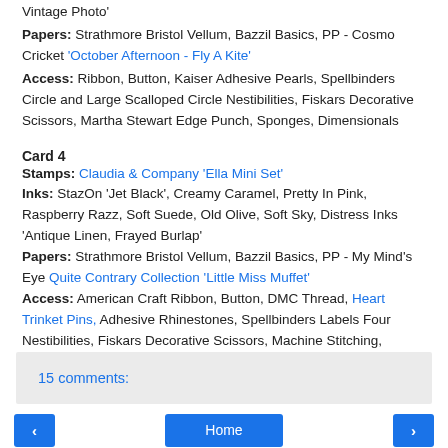Vintage Photo'
Papers: Strathmore Bristol Vellum, Bazzil Basics, PP - Cosmo Cricket 'October Afternoon - Fly A Kite'
Access: Ribbon, Button, Kaiser Adhesive Pearls, Spellbinders Circle and Large Scalloped Circle Nestibilities, Fiskars Decorative Scissors, Martha Stewart Edge Punch, Sponges, Dimensionals
Card 4
Stamps: Claudia & Company 'Ella Mini Set'
Inks: StazOn 'Jet Black', Creamy Caramel, Pretty In Pink, Raspberry Razz, Soft Suede, Old Olive, Soft Sky, Distress Inks 'Antique Linen, Frayed Burlap'
Papers: Strathmore Bristol Vellum, Bazzil Basics, PP - My Mind's Eye Quite Contrary Collection 'Little Miss Muffet'
Access: American Craft Ribbon, Button, DMC Thread, Heart Trinket Pins, Adhesive Rhinestones, Spellbinders Labels Four Nestibilities, Fiskars Decorative Scissors, Machine Stitching, Sponges, Dimensionala
15 comments:
Home